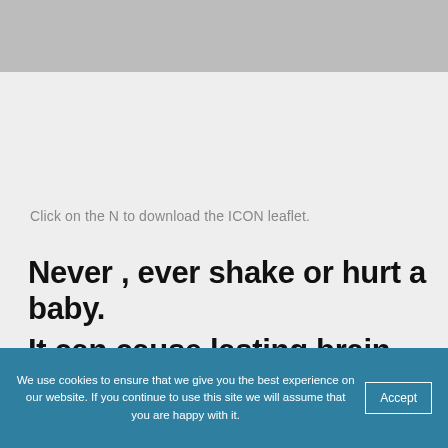Click on the N to download the ICON leaflet.
Never , ever shake or hurt a baby.
It can cause lasting brain
We use cookies to ensure that we give you the best experience on our website. If you continue to use this site we will assume that you are happy with it.